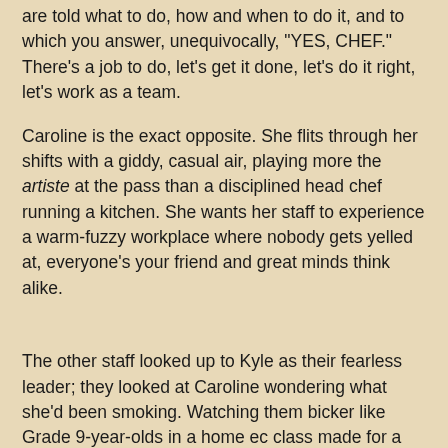are told what to do, how and when to do it, and to which you answer, unequivocally, "YES, CHEF." There's a job to do, let's get it done, let's do it right, let's work as a team.
Caroline is the exact opposite. She flits through her shifts with a giddy, casual air, playing more the artiste at the pass than a disciplined head chef running a kitchen. She wants her staff to experience a warm-fuzzy workplace where nobody gets yelled at, everyone's your friend and great minds think alike.
The other staff looked up to Kyle as their fearless leader; they looked at Caroline wondering what she'd been smoking. Watching them bicker like Grade 9-year-olds in a home ec class made for a painful, albeit entertaining, experience. In the end, the two chefs just couldn't mesh, and in the interest of restoring the Zen, Kyle "moved on to another project" (read: got fired. Unjustly, as far as I'm concerned.)
Then again, this is TV. Heavily edited and carefully scripted